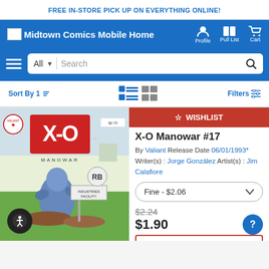FREE IN-STORE PICK UP ON EVERYTHING ONLINE!
[Figure (screenshot): Midtown Comics Mobile Home navigation bar with Profile, Pull List, Cart icons]
[Figure (screenshot): Search bar with hamburger menu, All dropdown, Search field]
Sort By 1 | View toggle icons | Filters
[Figure (photo): X-O Manowar #17 comic book cover showing action scene with X-O character]
WISHLIST
X-O Manowar #17
By Valiant Release Date 06/01/1993* Writer(s): Jorge González Artist(s): Jim Calafiore
Fine - $2.06
$2.24
$1.90
15% OFF